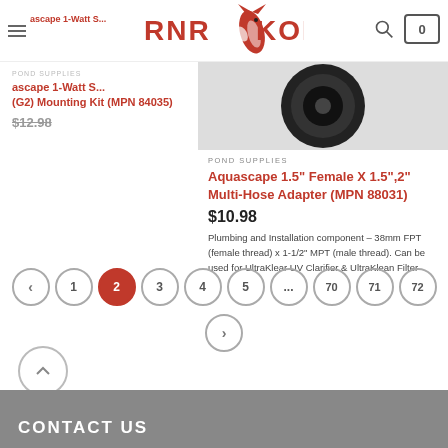[Figure (logo): RNR KOI logo with koi fish illustration in red]
Aquascape 1-Watt Spotlight (G2) Mounting Kit (MPN 84035)
$12.98
POND SUPPLIES
Aquascape 1.5" Female X 1.5",2" Multi-Hose Adapter (MPN 88031)
$10.98
Plumbing and Installation component – 38mm FPT (female thread) x 1-1/2" MPT (male thread). Can be used for UltraKlear UV Clarifier & UltraKlean Filter
< 1 2 3 4 5 ... 70 71 72 >
CONTACT US